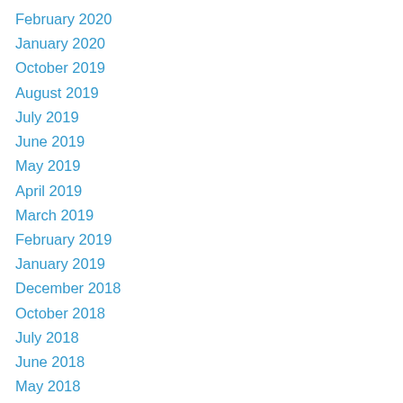February 2020
January 2020
October 2019
August 2019
July 2019
June 2019
May 2019
April 2019
March 2019
February 2019
January 2019
December 2018
October 2018
July 2018
June 2018
May 2018
April 2018
March 2018
February 2018
January 2018